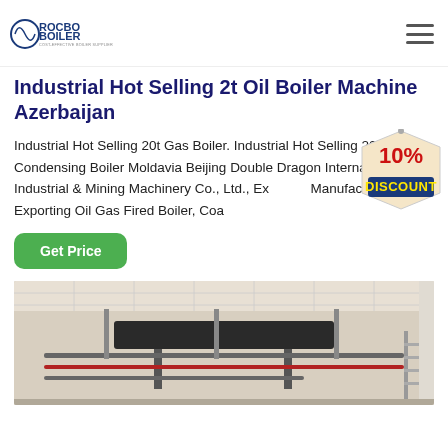ROCBO BOILER - COST-EFFECTIVE BOILER SUPPLIER
Industrial Hot Selling 2t Oil Boiler Machine Azerbaijan
Industrial Hot Selling 20t Gas Boiler. Industrial Hot Selling 20t Diesel Condensing Boiler Moldavia Beijing Double Dragon International Industrial & Mining Machinery Co., Ltd., Exporting Oil Gas Fired Boiler, Coa Manufacturing and Exporting Oil Gas Fired Boiler, Coa
[Figure (infographic): 10% DISCOUNT badge/sticker in red and blue on a tan background]
[Figure (photo): Industrial boiler room interior showing pipes, ducts and metal framework on ceiling]